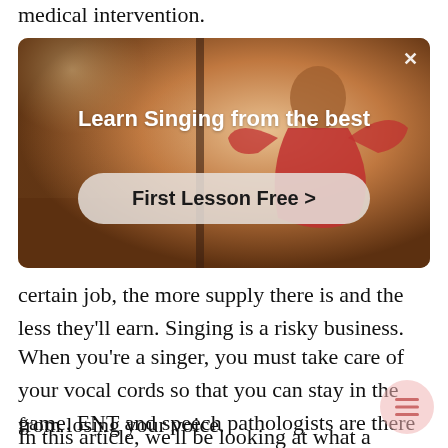medical intervention.
[Figure (screenshot): Advertisement banner for singing lessons with background image of a person dancing/gesturing. Text reads 'Learn Singing from the best' with a 'First Lesson Free >' button and an X close button.]
certain job, the more supply there is and the less they'll earn. Singing is a risky business.
When you're a singer, you must take care of your vocal cords so that you can stay in the game. ENT and speech pathologists are there to keep you from losing your voice.
In this article, we'll be looking at what a speech